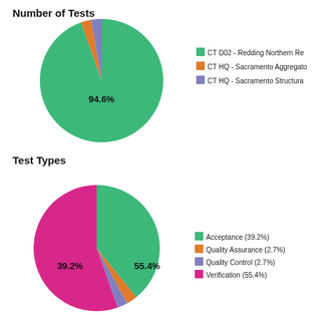[Figure (pie-chart): Number of Tests]
[Figure (pie-chart): Test Types]